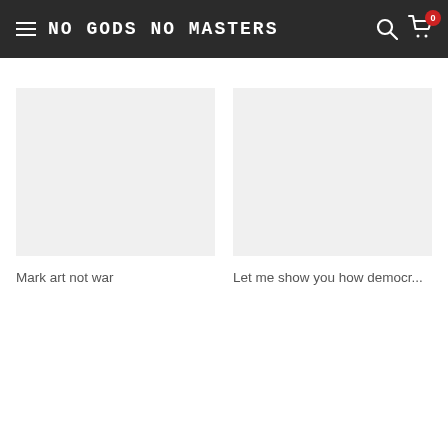NO GODS NO MASTERS
Mark art not war
Let me show you how democr...